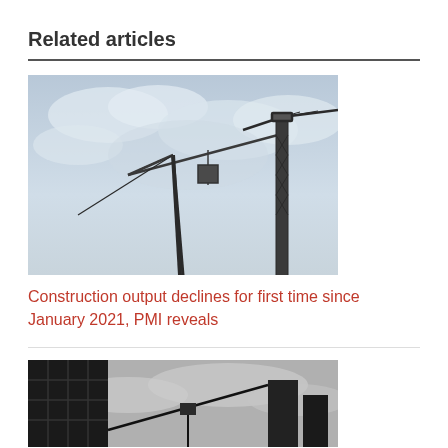Related articles
[Figure (photo): Two construction cranes against a cloudy sky, viewed from below, blue-grey toned photograph]
Construction output declines for first time since January 2021, PMI reveals
[Figure (photo): Black and white photograph of a construction building frame and cranes against a cloudy sky, viewed from below]